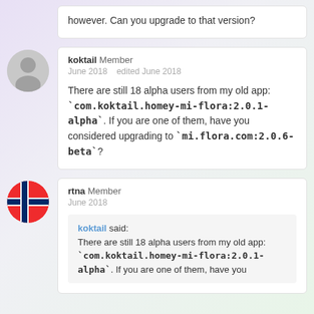however. Can you upgrade to that version?
koktail Member
June 2018   edited June 2018
There are still 18 alpha users from my old app: `com.koktail.homey-mi-flora:2.0.1-alpha`. If you are one of them, have you considered upgrading to `mi.flora.com:2.0.6-beta`?
rtna Member
June 2018
koktail said:
There are still 18 alpha users from my old app: `com.koktail.homey-mi-flora:2.0.1-alpha`. If you are one of them, have you